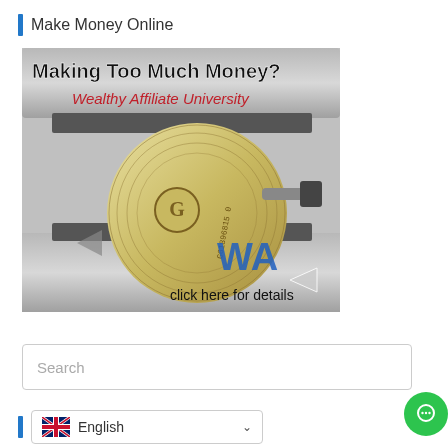Make Money Online
[Figure (illustration): Advertisement image for Wealthy Affiliate University showing a roll of US dollar bills feeding through a machine, with text 'Making Too Much Money?' in bold black, 'Wealthy Affiliate University' in red italic, blue 'WA' logo, and 'click here for details' with arrow.]
Search
English